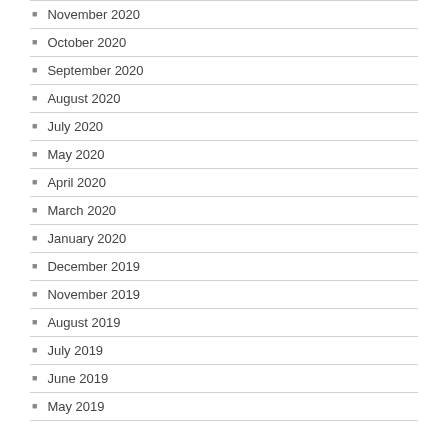November 2020
October 2020
September 2020
August 2020
July 2020
May 2020
April 2020
March 2020
January 2020
December 2019
November 2019
August 2019
July 2019
June 2019
May 2019